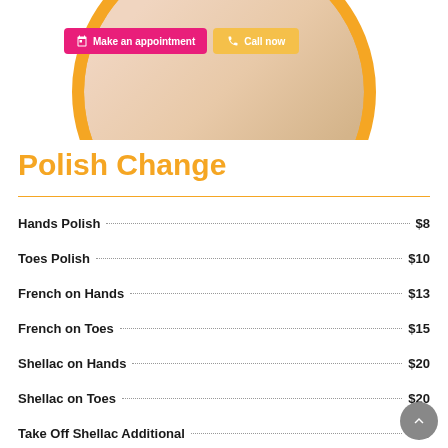[Figure (photo): Nail salon photo showing hands with nail polish on a wooden table, inside a circular orange-bordered frame. Two buttons overlay: 'Make an appointment' (pink) and 'Call now' (yellow).]
Polish Change
Hands Polish  $8
Toes Polish  $10
French on Hands  $13
French on Toes  $15
Shellac on Hands  $20
Shellac on Toes  $20
Take Off Shellac Additional  +$5